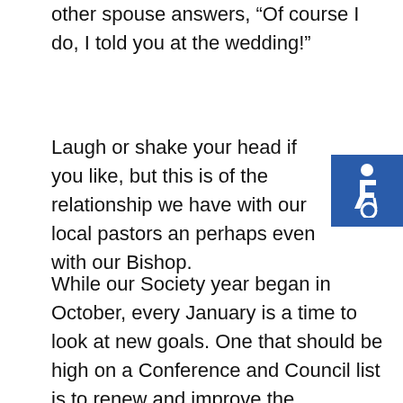other spouse answers, “Of course I do, I told you at the wedding!”
Laugh or shake your head if you like, but this is often the relationship we have with our local pastors and perhaps even with our Bishop.
[Figure (illustration): Blue accessibility icon showing wheelchair user symbol in white on blue background]
While our Society year began in October, every January is a time to look at new goals. One that should be high on a Conference and Council list is to renew and improve the relationship we have with clergy. After all, let’s remember that the Society operates only with the invitation of our Bishop and parish pastor. We can’t take this for granted.